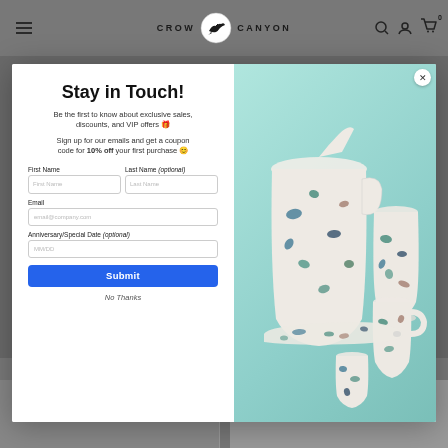CROW CANYON - navigation header with hamburger menu, logo with bird icon, search, account, and cart icons
[Figure (screenshot): Modal popup overlay on e-commerce website. Left panel is white with sign-up form. Right panel shows enamelware products (pitcher, cups, tray) with colorful splatter pattern on teal background.]
Stay in Touch!
Be the first to know about exclusive sales, discounts, and VIP offers 🎁
Sign up for our emails and get a coupon code for 10% off your first purchase 😊
First Name
Last Name (optional)
Email
Anniversary/Special Date (optional)
Submit
No Thanks